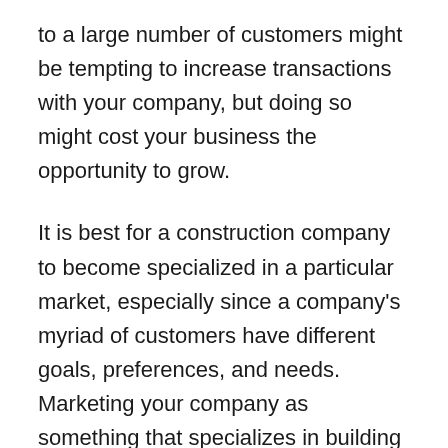to a large number of customers might be tempting to increase transactions with your company, but doing so might cost your business the opportunity to grow.
It is best for a construction company to become specialized in a particular market, especially since a company's myriad of customers have different goals, preferences, and needs. Marketing your company as something that specializes in building for a particular market would allow more potential clients to come to you for your services.
Being specialized in a particular field allows you and your people to communicate smoothly with your clients, increasing overall productivity as well as ensuring that no miscommunications would occur since you're both on the